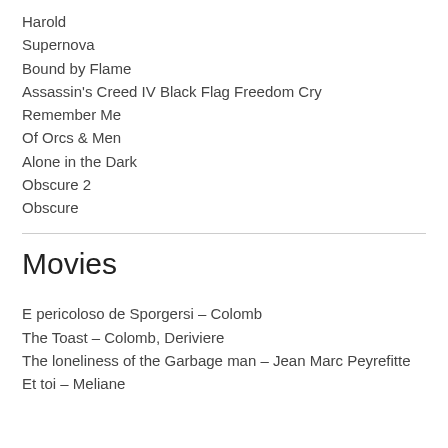Harold
Supernova
Bound by Flame
Assassin's Creed IV Black Flag Freedom Cry
Remember Me
Of Orcs & Men
Alone in the Dark
Obscure 2
Obscure
Movies
E pericoloso de Sporgersi – Colomb
The Toast – Colomb, Deriviere
The loneliness of the Garbage man – Jean Marc Peyrefitte
Et toi  – Meliane